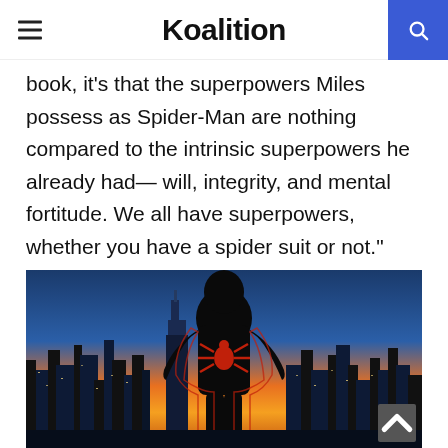Koalition
book, it's that the superpowers Miles possess as Spider-Man are nothing compared to the intrinsic superpowers he already had— will, integrity, and mental fortitude. We all have superpowers, whether you have a spider suit or not."
[Figure (photo): Spider-Man (Miles Morales) in black and red suit seen from behind, overlooking a glowing nighttime cityscape with a vivid orange and blue sunset sky behind skyscrapers.]